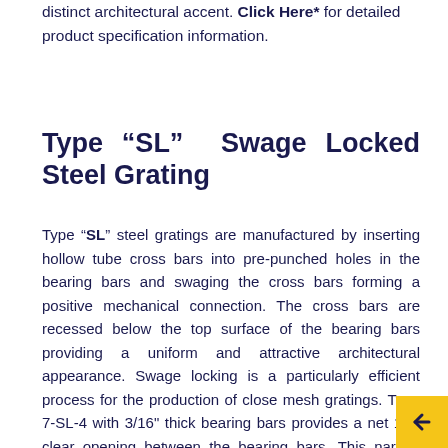distinct architectural accent. Click Here* for detailed product specification information.
Type “SL” Swage Locked Steel Grating
Type “SL” steel gratings are manufactured by inserting hollow tube cross bars into pre-punched holes in the bearing bars and swaging the cross bars forming a positive mechanical connection. The cross bars are recessed below the top surface of the bearing bars providing a uniform and attractive architectural appearance. Swage locking is a particularly efficient process for the production of close mesh gratings. Type 7-SL-4 with 3/16" thick bearing bars provides a net 1/4" clear opening between the bearing bars. This narrow opening is often preferred in public areas where concerns of drainage